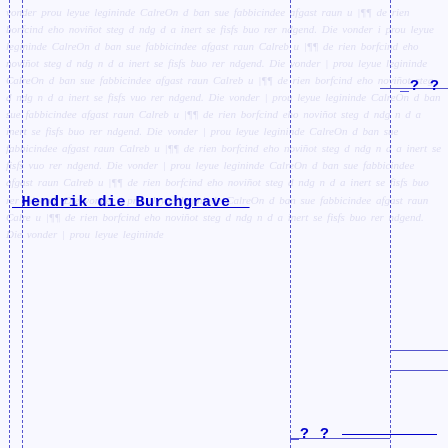_Hendrik die Burchgrave _
? ?
_? ?
--Katharina Burchgrave